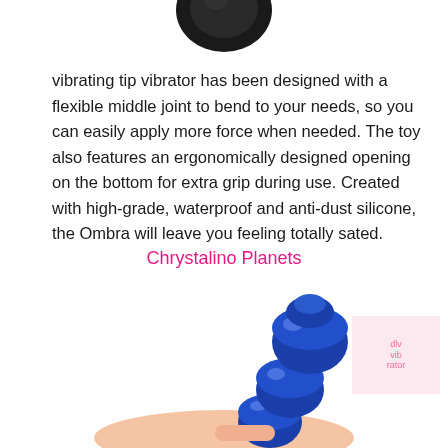[Figure (photo): Partial view of a black product (vibrator tip) at top of page, cropped]
vibrating tip vibrator has been designed with a flexible middle joint to bend to your needs, so you can easily apply more force when needed. The toy also features an ergonomically designed opening on the bottom for extra grip during use. Created with high-grade, waterproof and anti-dust silicone, the Ombra will leave you feeling totally sated.
Chrystalino Planets
[Figure (photo): Blue segmented glass/crystal dildo toy (Chrystalino Planets) held in a hand, photographed against white background. A small pink watermark box appears in bottom right corner.]